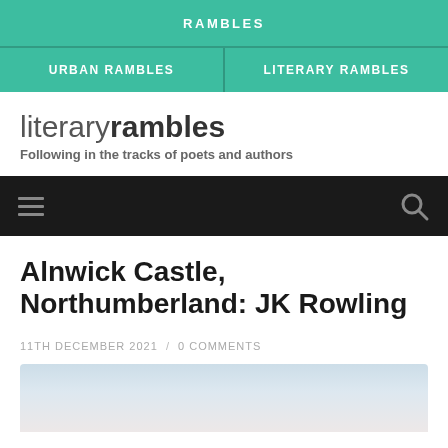RAMBLES
URBAN RAMBLES / LITERARY RAMBLES
literaryrambles — Following in the tracks of poets and authors
[Figure (screenshot): Black navigation bar with hamburger menu icon on left and search icon on right]
Alnwick Castle, Northumberland: JK Rowling
11TH DECEMBER 2021 / 0 COMMENTS
[Figure (photo): Partial photograph showing a light blue sky, beginning of article image]